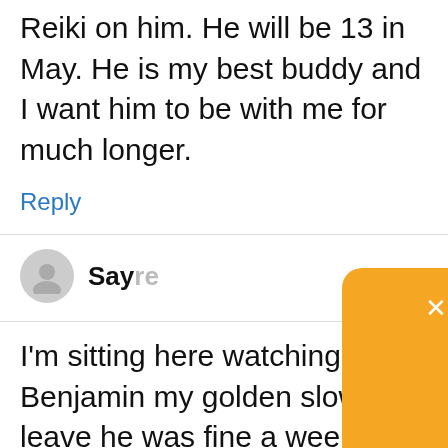Reiki on him. He will be 13 in May. He is my best buddy and I want him to be with me for much longer.
Reply
Say re
I’m sitting here watching Benjamin my golden slowly leave he was fine a week ago now he just lays down not
[Figure (screenshot): Orange popup modal with white bold text 'Potty Train Your Puppy Fast!', subtitle 'Download the FREE Potty Training Cheat Sheet!', and a dark rounded button 'Download Now'. An X close button is in the top-right corner of the modal.]